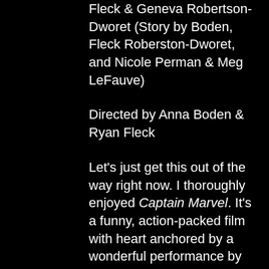Fleck & Geneva Robertson-Dworet (Story by Boden, Fleck Roberston-Dworet, and Nicole Perman & Meg LeFauve)
Directed by Anna Boden & Ryan Fleck
Let's just get this out of the way right now. I thoroughly enjoyed Captain Marvel. It's a funny, action-packed film with heart anchored by a wonderful performance by Brie Larson. She carries the movie effortlessly and her chemistry with Samuel L. Jackson's Nick Fury is playful and fun to watch. A couple of surprising twists keep the story fresh, including one with a cat named Goose that brought the house down in the screening I